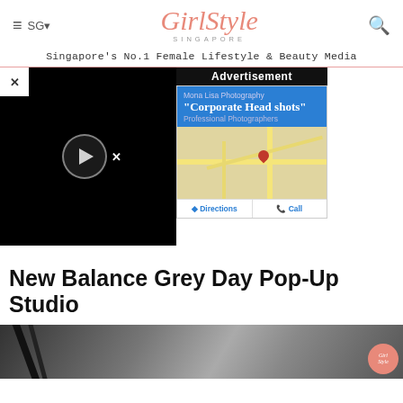GirlStyle Singapore — Singapore's No.1 Female Lifestyle & Beauty Media
[Figure (screenshot): Video player with black background, close button (X), circular play button, and overlay close button]
[Figure (screenshot): Advertisement for Mona Lisa Photography Corporate Headshots showing Google Maps embed with Directions and Call buttons, labeled 'Advertisement']
New Balance Grey Day Pop-Up Studio
[Figure (photo): Bottom portion of article photo showing interior space with dark structural beams, GirlStyle watermark visible]